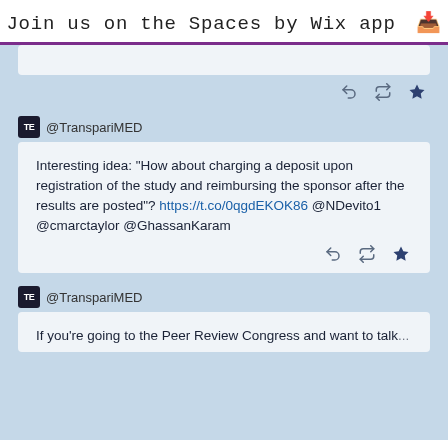Join us on the Spaces by Wix app ↓
[Figure (screenshot): Social media feed showing tweets from @TranspariMED. First visible tweet shows action icons (reply, retweet, star). Second tweet from @TranspariMED reads: 'Interesting idea: "How about charging a deposit upon registration of the study and reimbursing the sponsor after the results are posted"? https://t.co/0qgdEKOK86 @NDevito1 @cmarctaylor @GhassanKaram'. Third tweet begins: 'If you're going to the Peer Review Congress and want to talk...']